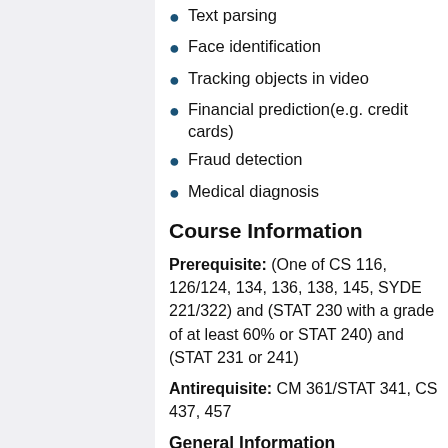Text parsing
Face identification
Tracking objects in video
Financial prediction(e.g. credit cards)
Fraud detection
Medical diagnosis
Course Information
Prerequisite: (One of CS 116, 126/124, 134, 136, 138, 145, SYDE 221/322) and (STAT 230 with a grade of at least 60% or STAT 240) and (STAT 231 or 241)
Antirequisite: CM 361/STAT 341, CS 437, 457
General Information
No required textbook
Recommended: "Simulation" by Sheldon M. Ross
Computing parts of the course will be